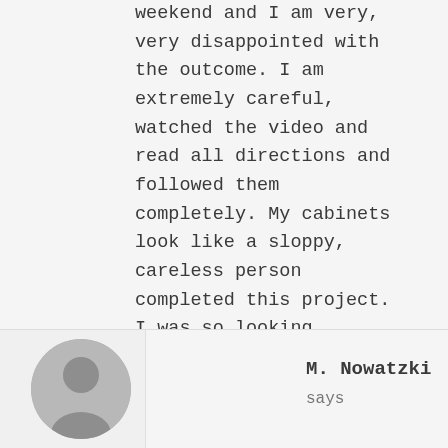weekend and I am very, very disappointed with the outcome. I am extremely careful, watched the video and read all directions and followed them completely. My cabinets look like a sloppy, careless person completed this project. I was so looking forward to showing them off and now I don't want anyone to see them before I can fix them – which I don't even know yet how I will do. Wish I started this project with some primer and a gallon of black paint!
Reply
M. Nowatzki
says